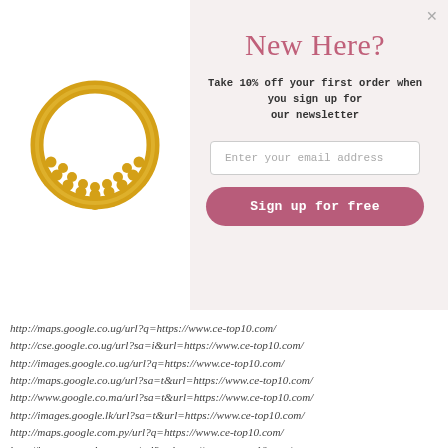[Figure (photo): Gold decorative ring with beaded crescent design, photographed on white background]
New Here?
Take 10% off your first order when you sign up for our newsletter
Enter your email address
Sign up for free
http://maps.google.co.ug/url?q=https://www.ce-top10.com/
http://cse.google.co.ug/url?sa=i&url=https://www.ce-top10.com/
http://images.google.co.ug/url?q=https://www.ce-top10.com/
http://maps.google.co.ug/url?sa=t&url=https://www.ce-top10.com/
http://www.google.co.ma/url?sa=t&url=https://www.ce-top10.com/
http://images.google.lk/url?sa=t&url=https://www.ce-top10.com/
http://maps.google.com.py/url?q=https://www.ce-top10.com/
http://images.google.com.py/url?q=https://www.ce-top10.com/
http://cse.google.com.py/url?sa=i&url=https://www.ce-top10.com/
http://images.google.com.gh/url?q=https://www.ce-top10.com/